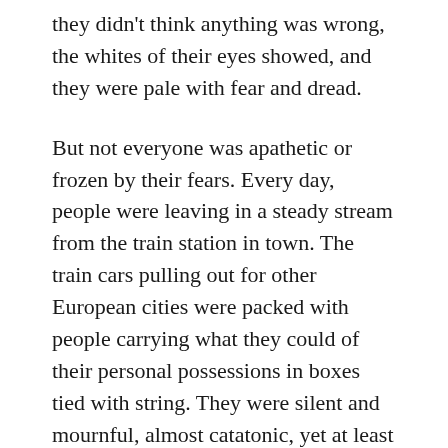they didn't think anything was wrong, the whites of their eyes showed, and they were pale with fear and dread.
But not everyone was apathetic or frozen by their fears. Every day, people were leaving in a steady stream from the train station in town. The train cars pulling out for other European cities were packed with people carrying what they could of their personal possessions in boxes tied with string. They were silent and mournful, almost catatonic, yet at least the ones leaving had a spark of survival instinct in their eyes.
They were the few among the many, though,